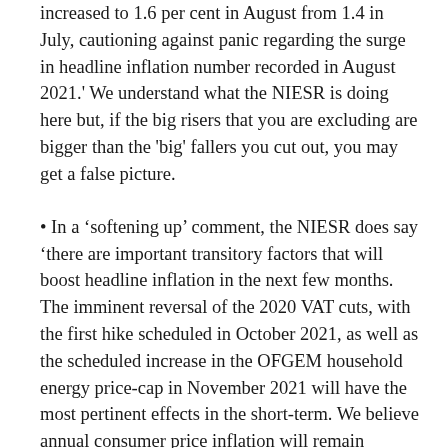increased to 1.6 per cent in August from 1.4 in July, cautioning against panic regarding the surge in headline inflation number recorded in August 2021.' We understand what the NIESR is doing here but, if the big risers that you are excluding are bigger than the 'big' fallers you cut out, you may get a false picture.
• In a 'softening up' comment, the NIESR does say 'there are important transitory factors that will boost headline inflation in the next few months. The imminent reversal of the 2020 VAT cuts, with the first hike scheduled in October 2021, as well as the scheduled increase in the OFGEM household energy price-cap in November 2021 will have the most pertinent effects in the short-term. We believe annual consumer price inflation will remain elevated in 2021 before peaking around 4 per cent in the first quarter of 2022.' This is possible but, on 1 April 2022, VAT on food